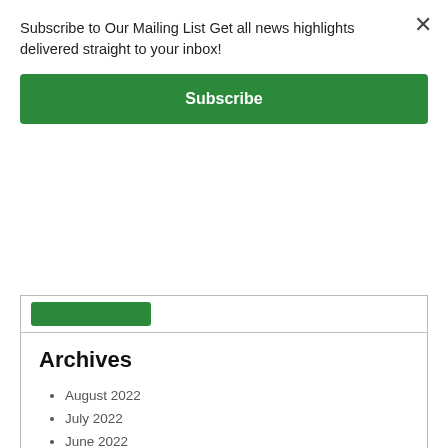Subscribe to Our Mailing List Get all news highlights delivered straight to your inbox!
Subscribe
Archives
August 2022
July 2022
June 2022
May 2022
April 2022
March 2022
February 2022
January 2022
December 2021
November 2021
October 2021
September 2021